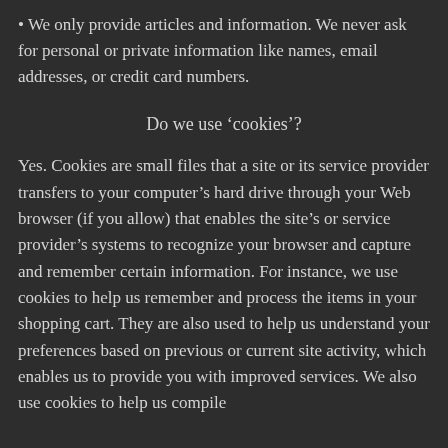We only provide articles and information. We never ask for personal or private information like names, email addresses, or credit card numbers.
Do we use ‘cookies’?
Yes. Cookies are small files that a site or its service provider transfers to your computer’s hard drive through your Web browser (if you allow) that enables the site’s or service provider’s systems to recognize your browser and capture and remember certain information. For instance, we use cookies to help us remember and process the items in your shopping cart. They are also used to help us understand your preferences based on previous or current site activity, which enables us to provide you with improved services. We also use cookies to help us compile